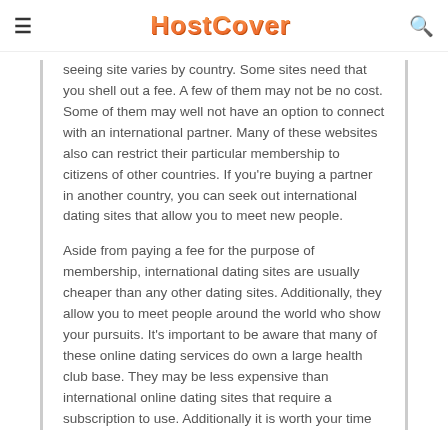HostCover
seeing site varies by country. Some sites need that you shell out a fee. A few of them may not be no cost. Some of them may well not have an option to connect with an international partner. Many of these websites also can restrict their particular membership to citizens of other countries. If you're buying a partner in another country, you can seek out international dating sites that allow you to meet new people.
Aside from paying a fee for the purpose of membership, international dating sites are usually cheaper than any other dating sites. Additionally, they allow you to meet people around the world who show your pursuits. It's important to be aware that many of these online dating services do own a large health club base. They may be less expensive than international online dating sites that require a subscription to use. Additionally it is worth your time